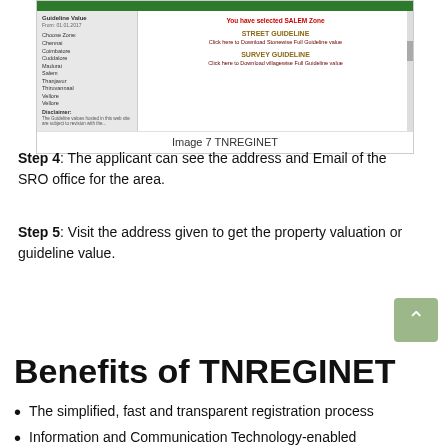[Figure (screenshot): Screenshot of TNREGINET website showing SALEM Zone selected with Street Guideline and Survey Guideline sections]
Image 7 TNREGINET
Step 4: The applicant can see the address and Email of the SRO office for the area.
Step 5: Visit the address given to get the property valuation or guideline value.
Benefits of TNREGINET
The simplified, fast and transparent registration process
Information and Communication Technology-enabled